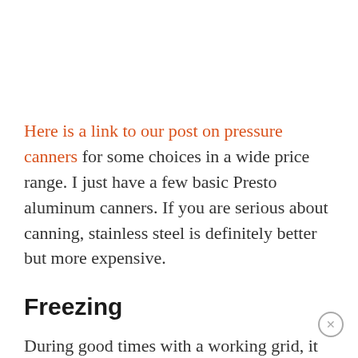Here is a link to our post on pressure canners for some choices in a wide price range. I just have a few basic Presto aluminum canners. If you are serious about canning, stainless steel is definitely better but more expensive.
Freezing
During good times with a working grid, it is hard to beat having a good chest freezer. You can get a small chest freezer used for very little, but a small new one